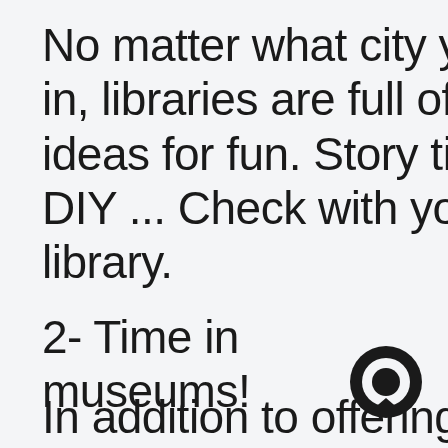No matter what city you live in, libraries are full of great ideas for fun. Story time, DIY ... Check with your library.
2- Time in museums!
In addition to offering great diversity and events for all